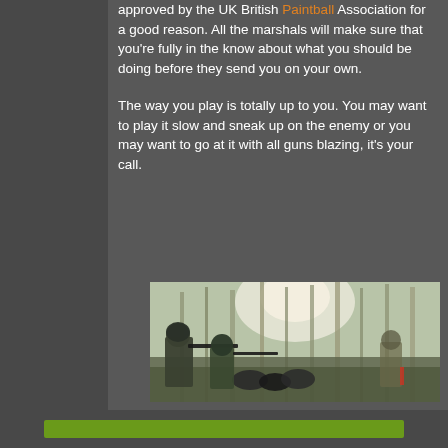approved by the UK British Paintball Association for a good reason. All the marshals will make sure that you're fully in the know about what you should be doing before they send you on your own.
The way you play is totally up to you. You may want to play it slow and sneak up on the enemy or you may want to go at it with all guns blazing, it's your call.
[Figure (photo): Outdoor paintball game scene showing players in camouflage gear aiming guns in a wooded forest area with trees and natural cover]